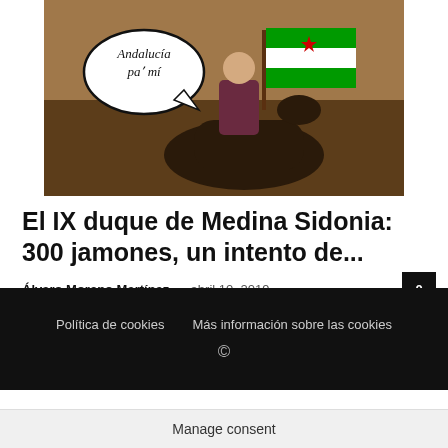[Figure (photo): Meme image of a historical painting of a nobleman on horseback waving the Andalusian independence flag, with a speech bubble saying 'Andalucía pa mi']
El IX duque de Medina Sidonia: 300 jamones, un intento de...
Álvaro Moreno Martínez – abril 10, 2019
Política de cookies   Más información sobre las cookies   ©
Manage consent